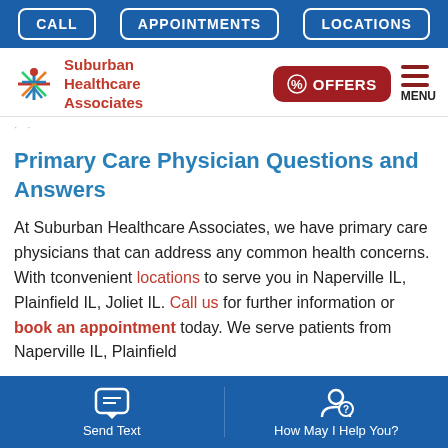CALL | APPOINTMENTS | LOCATIONS
[Figure (logo): Suburban Healthcare Associates logo with star/person icon in blue and red]
[Figure (other): OFFERS button (red rounded rectangle with coupon icon) and MENU hamburger icon]
· ·
Primary Care Physician Questions and Answers
At Suburban Healthcare Associates, we have primary care physicians that can address any common health concerns. With tconvenient locations to serve you in Naperville IL, Plainfield IL, Joliet IL. Call us for further information or book an appointment today. We serve patients from Naperville IL, Plainfield
Send Text | How May I Help You?